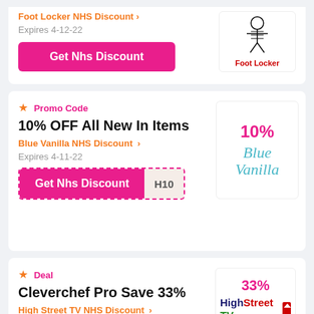Foot Locker NHS Discount >
Expires 4-12-22
Get Nhs Discount
[Figure (logo): Foot Locker logo with referee figure and red text 'Foot Locker']
Promo Code
10% OFF All New In Items
Blue Vanilla NHS Discount >
Expires 4-11-22
Get Nhs Discount H10
[Figure (logo): Blue Vanilla logo with 10% in pink and cursive Blue Vanilla text in teal]
Deal
Cleverchef Pro Save 33%
High Street TV NHS Discount >
Expires 9-9-22
[Figure (logo): High Street TV logo with 33% in pink, HighStreetTV branding and freesat 821 text]